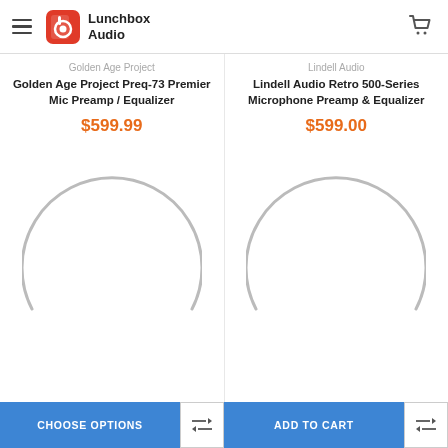Lunchbox Audio
Golden Age Project
Golden Age Project Preq-73 Premier Mic Preamp / Equalizer
$599.99
[Figure (illustration): Loading spinner / circular arc placeholder image for product]
Lindell Audio
Lindell Audio Retro 500-Series Microphone Preamp & Equalizer
$599.00
[Figure (illustration): Loading spinner / circular arc placeholder image for product]
CHOOSE OPTIONS
ADD TO CART